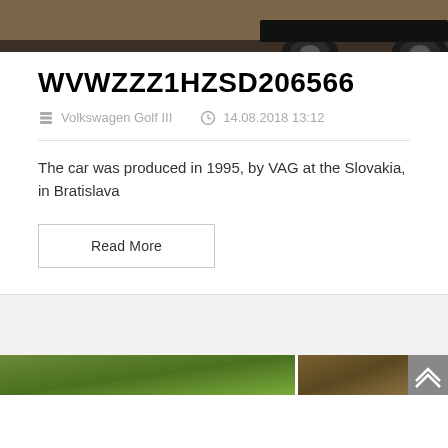[Figure (photo): Partial top view of a car, showing rear wheels and lower body on a dark surface]
WVWZZZ1HZSD206566
Volkswagen Golf III   14.08.2018 13:12
The car was produced in 1995, by VAG at the Slovakia, in Bratislava
Read More
[Figure (photo): Two partially visible car photos at the bottom of the page — left showing a green tree/foliage background, right showing a darker outdoor scene]